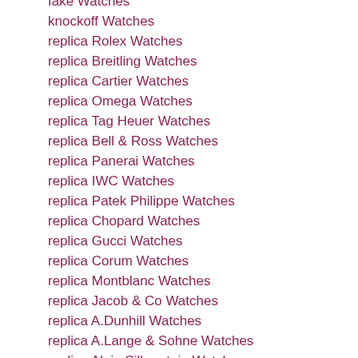fake Watches
knockoff Watches
replica Rolex Watches
replica Breitling Watches
replica Cartier Watches
replica Omega Watches
replica Tag Heuer Watches
replica Bell & Ross Watches
replica Panerai Watches
replica IWC Watches
replica Patek Philippe Watches
replica Chopard Watches
replica Gucci Watches
replica Corum Watches
replica Montblanc Watches
replica Jacob & Co Watches
replica A.Dunhill Watches
replica A.Lange & Sohne Watches
replica Alain Silberstein Watches
replica Audemars Piguet Watches
replica B.R.M Watches
replica Baume & Mercier Watches